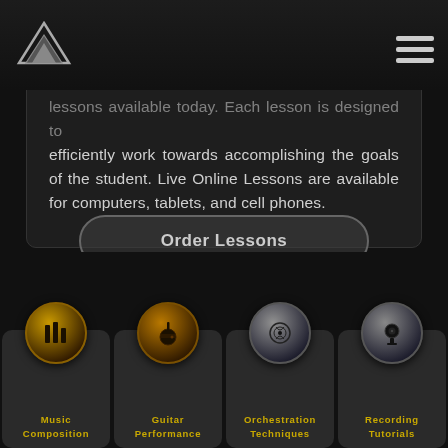lessons available today. Each lesson is designed to efficiently work towards accomplishing the goals of the student. Live Online Lessons are available for computers, tablets, and cell phones.
Order Lessons
[Figure (screenshot): Bottom navigation row with four icon tiles: Music Composition, Guitar Performance, Orchestration Techniques, Recording Tutorials — each with a golden circular icon on dark background]
Music Composition
Guitar Performance
Orchestration Techniques
Recording Tutorials